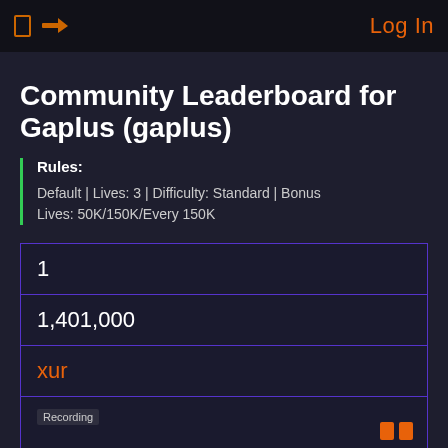Log In
Community Leaderboard for Gaplus (gaplus)
Rules:
Default | Lives: 3 | Difficulty: Standard | Bonus Lives: 50K/150K/Every 150K
| Rank | Score | Player | Recording | Settings |
| --- | --- | --- | --- | --- |
| 1 |  |  |  |  |
|  | 1,401,000 |  |  |  |
|  |  | xur |  |  |
|  |  |  | Recording |  |
|  |  |  |  | parsec 86 settings 50/150/150 wolf 225 |